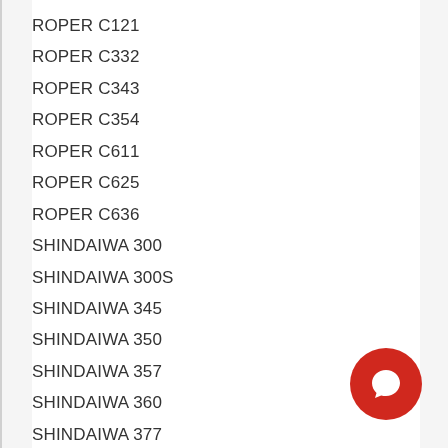ROPER C121
ROPER C332
ROPER C343
ROPER C354
ROPER C611
ROPER C625
ROPER C636
SHINDAIWA 300
SHINDAIWA 300S
SHINDAIWA 345
SHINDAIWA 350
SHINDAIWA 357
SHINDAIWA 360
SHINDAIWA 377
SHINDAIWA 415
SHINDAIWA 416
SHINDAIWA 451
SHINDAIWA 488
SHINDAIWA 500
SHINDAIWA 575
SHINDAIWA 577
SHINDAIWA 680
SHINDAIWA 695
SHINDAIWA 757
SOLO 600